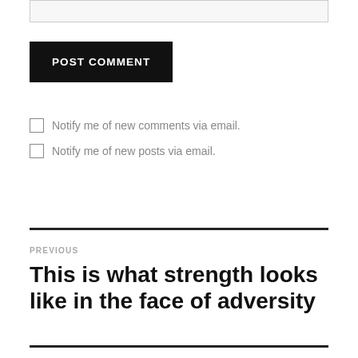[Figure (other): Text input field (comment box, partially visible at top)]
POST COMMENT
Notify me of new comments via email.
Notify me of new posts via email.
PREVIOUS
This is what strength looks like in the face of adversity